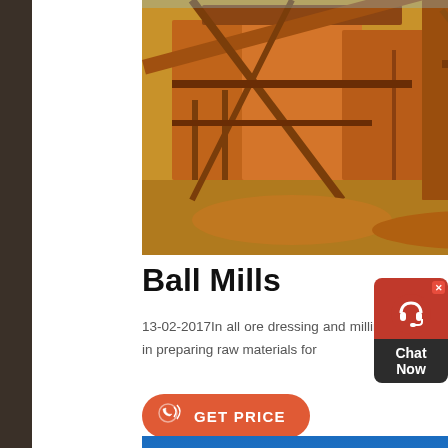[Figure (photo): Mining/ore processing equipment with orange machinery and structures at an industrial site]
Ball Mills
13-02-2017In all ore dressing and milling Operations, inc Principle is to crush and grind, often with rob mill ball m grinding is an important step in preparing raw materials for
[Figure (other): GET PRICE button with phone icon in orange/red rounded rectangle]
[Figure (photo): Yellow mobile crusher and truck on a flat sandy area under blue sky]
[Figure (other): Chat Now widget overlay on right side with red top and dark bottom]